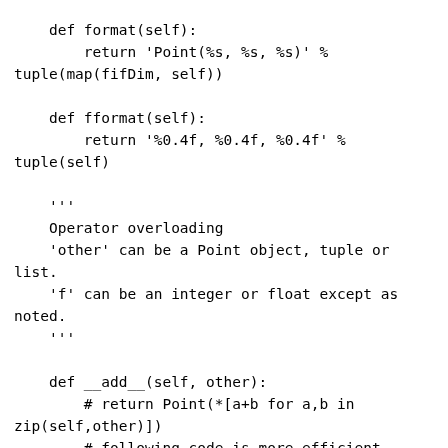def format(self):
        return 'Point(%s, %s, %s)' % tuple(map(fifDim, self))

    def fformat(self):
        return '%0.4f, %0.4f, %0.4f' % tuple(self)

    '''
    Operator overloading
    'other' can be a Point object, tuple or list.
    'f' can be an integer or float except as noted.
    '''

    def __add__(self, other):
        # return Point(*[a+b for a,b in zip(self,other)])
        # following code is more efficient
        return Point(self.x+other[0], self.y+other[1], self.z+other[2])

    def __iadd__(self, other):